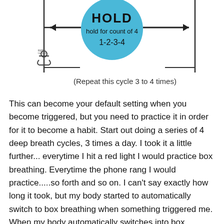[Figure (infographic): Box breathing diagram showing HOLD phase with a blue circle labeled 'hold for count of 4' and '1-2-3-4', with horizontal arrows pointing left and right, a vertical line on the left with an anchor icon, and text '(Repeat this cycle 3 to 4 times)' at the bottom.]
This can become your default setting when you become triggered, but you need to practice it in order for it to become a habit. Start out doing a series of 4 deep breath cycles, 3 times a day. I took it a little further...everytime I hit a red light I would practice box breathing. Everytime the phone rang I would practice.....so forth and so on. I can't say exactly how long it took, but my body started to automatically switch to box breathing when something triggered me. When my body automatically switches into box breathing mode, my mind is able to address what is happening sooner. It is then that I start saying to myself "It's okay. You are okay. You are